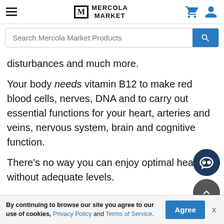Mercola Market
disturbances and much more.
Your body needs vitamin B12 to make red blood cells, nerves, DNA and to carry out essential functions for your heart, arteries and veins, nervous system, brain and cognitive function.
There’s no way you can enjoy optimal health without adequate levels.
By continuing to browse our site you agree to our use of cookies, Privacy Policy and Terms of Service.